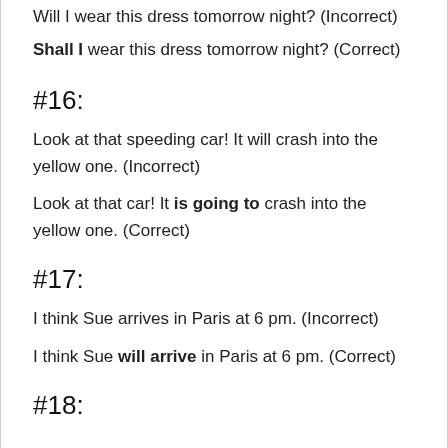Will I wear this dress tomorrow night? (Incorrect)
Shall I wear this dress tomorrow night? (Correct)
#16:
Look at that speeding car! It will crash into the yellow one. (Incorrect)
Look at that car! It is going to crash into the yellow one. (Correct)
#17:
I think Sue arrives in Paris at 6 pm. (Incorrect)
I think Sue will arrive in Paris at 6 pm. (Correct)
#18: